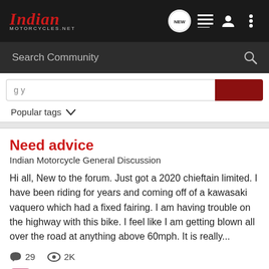Indian Motorcycles.NET
Search Community
Popular tags
Need advice
Indian Motorcycle General Discussion
Hi all, New to the forum. Just got a 2020 chieftain limited. I have been riding for years and coming off of a kawasaki vaquero which had a fixed fairing. I am having trouble on the highway with this bike. I feel like I am getting blown all over the road at anything above 60mph. It is really...
29 comments  2K views
ScottyMac · Jun 21, 2021